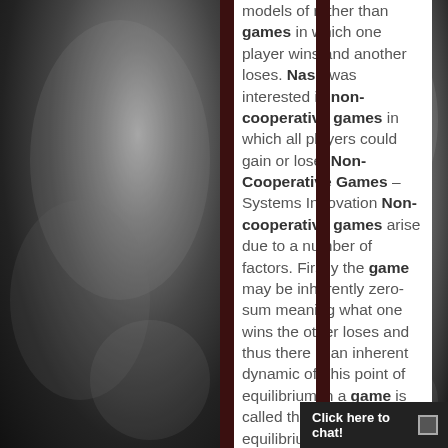models of rather than games in which one player wins and another loses. Nash was interested in non-cooperative games in which all players could gain or lose. Non-Cooperative Games – Systems Innovation Non-cooperative games arise due to a number of factors. Firstly the game may be inherently zero-sum meaning what one wins the other loses and thus there is an inherent dynamic of This point of equilibrium in a game is called the Nash equilibrium after the famous mathematician John Mash. Game theory and John Nash – Technology Times Major classes of games are cooperative and non-cooperative games. Game theory has applications in situations when humans